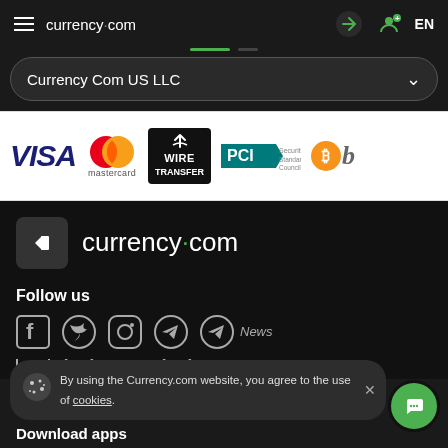currency.com  EN
Currency Com US LLC
[Figure (logo): Payment method logos: VISA, Mastercard, Wire Transfer, PCI Security Standards Council, Bitcoin]
[Figure (logo): currency.com footer logo with back-to-top button]
Follow us
[Figure (illustration): Social media icons: Facebook, Twitter, Instagram, Telegram, Telegram News]
By using the Currency.com website, you agree to the use of cookies.
Download apps